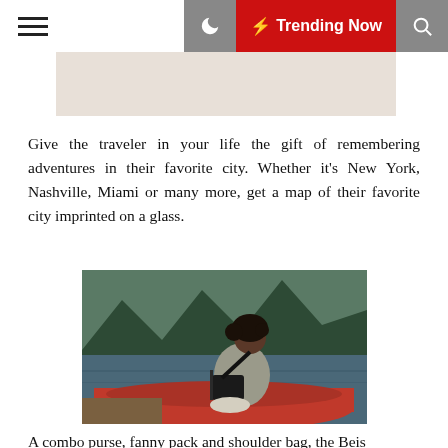☰  🌙  ⚡ Trending Now  🔍
[Figure (photo): Beige/tan colored banner image placeholder at top of article]
Give the traveler in your life the gift of remembering adventures in their favorite city. Whether it's New York, Nashville, Miami or many more, get a map of their favorite city imprinted on a glass.
[Figure (photo): Woman with curly dark hair sitting in a red canoe on a lake, wearing a gray jacket and carrying a black bag, with forested mountains in the background]
A combo purse, fanny pack and shoulder bag, the Beis